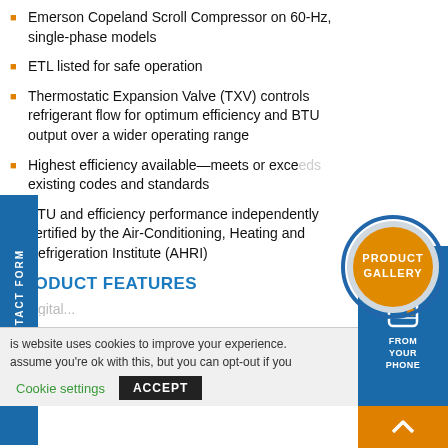Emerson Copeland Scroll Compressor on 60-Hz, single-phase models
ETL listed for safe operation
Thermostatic Expansion Valve (TXV) controls refrigerant flow for optimum efficiency and BTU output over a wider operating range
Highest efficiency available—meets or exceeds existing codes and standards
BTU and efficiency performance independently certified by the Air-Conditioning, Heating and Refrigeration Institute (AHRI)
[Figure (logo): Product Gallery circular badge with orange and blue colors]
PRODUCT FEATURES
(partially visible) Digital...
is website uses cookies to improve your experience. assume you're ok with this, but you can opt-out if you
Cookie settings    ACCEPT
[Figure (illustration): FROM YOUR PHONE sidebar panel with phone icon]
FAST CONTACT FORM sidebar